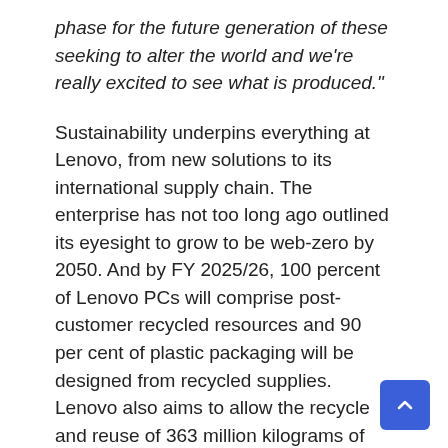phase for the future generation of these seeking to alter the world and we're really excited to see what is produced."
Sustainability underpins everything at Lenovo, from new solutions to its international supply chain. The enterprise has not too long ago outlined its eyesight to grow to be web-zero by 2050. And by FY 2025/26, 100 percent of Lenovo PCs will comprise post-customer recycled resources and 90 per cent of plastic packaging will be designed from recycled supplies. Lenovo also aims to allow the recycle and reuse of 363 million kilograms of close-of-lifestyle products and solutions and 136 million kilograms of article-buyer recycled written content plastics will be utilised across the